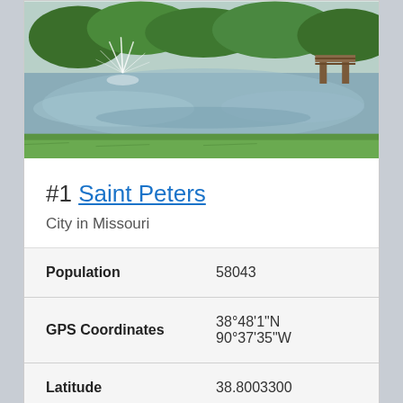[Figure (photo): Outdoor park scene with a pond, fountain, green grass, and a wooden dock/bridge in the background]
#1 Saint Peters
City in Missouri
| Population | 58043 |
| GPS Coordinates | 38°48'1"N 90°37'35"W |
| Latitude | 38.8003300 |